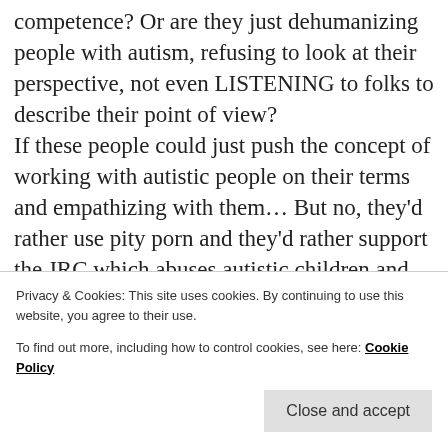competence? Or are they just dehumanizing people with autism, refusing to look at their perspective, not even LISTENING to folks to describe their point of view?
If these people could just push the concept of working with autistic people on their terms and empathizing with them… But no, they'd rather use pity porn and they'd rather support the JRC which abuses autistic children and adults.
Enough of them. They need to be pushed out of the spotlight. They are just lining their pockets and we should take them down and call them on
Privacy & Cookies: This site uses cookies. By continuing to use this website, you agree to their use.
To find out more, including how to control cookies, see here: Cookie Policy
Close and accept
REPLY